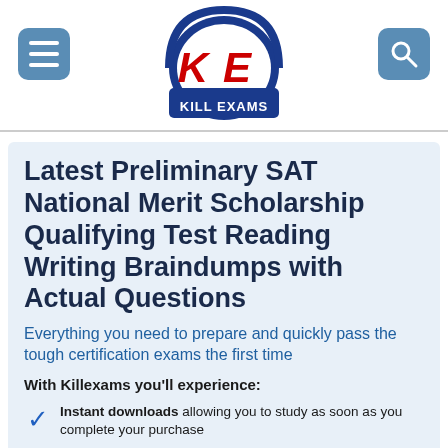[Figure (logo): Kill Exams logo: blue arch with red KE letters and 'KILL EXAMS' text in white on blue banner]
Latest Preliminary SAT National Merit Scholarship Qualifying Test Reading Writing Braindumps with Actual Questions
Everything you need to prepare and quickly pass the tough certification exams the first time
With Killexams you'll experience:
Instant downloads allowing you to study as soon as you complete your purchase
High Success Rate supported by our 99.3% pass rate history and money back guarantee should you fail your exam
Free first on the market updates available within 2 weeks of any